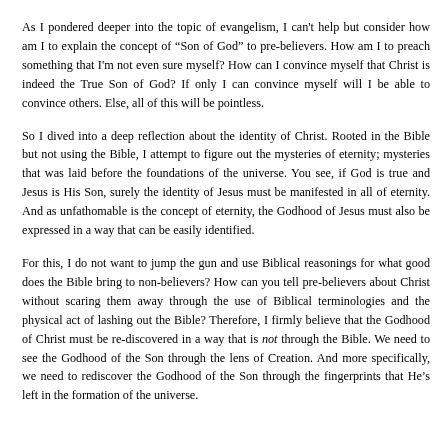As I pondered deeper into the topic of evangelism, I can't help but consider how am I to explain the concept of “Son of God” to pre-believers. How am I to preach something that I'm not even sure myself? How can I convince myself that Christ is indeed the True Son of God? If only I can convince myself will I be able to convince others. Else, all of this will be pointless.
So I dived into a deep reflection about the identity of Christ. Rooted in the Bible but not using the Bible, I attempt to figure out the mysteries of eternity; mysteries that was laid before the foundations of the universe. You see, if God is true and Jesus is His Son, surely the identity of Jesus must be manifested in all of eternity. And as unfathomable is the concept of eternity, the Godhood of Jesus must also be expressed in a way that can be easily identified.
For this, I do not want to jump the gun and use Biblical reasonings for what good does the Bible bring to non-believers? How can you tell pre-believers about Christ without scaring them away through the use of Biblical terminologies and the physical act of lashing out the Bible? Therefore, I firmly believe that the Godhood of Christ must be re-discovered in a way that is not through the Bible. We need to see the Godhood of the Son through the lens of Creation. And more specifically, we need to rediscover the Godhood of the Son through the fingerprints that He’s left in the formation of the universe.